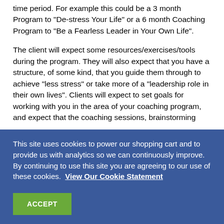time period. For example this could be a 3 month Program to "De-stress Your Life" or a 6 month Coaching Program to "Be a Fearless Leader in Your Own Life".
The client will expect some resources/exercises/tools during the program. They will also expect that you have a structure, of some kind, that you guide them through to achieve "less stress" or take more of a "leadership role in their own lives". Clients will expect to set goals for working with you in the area of your coaching program, and expect that the coaching sessions, brainstorming
This site uses cookies to power our shopping cart and to provide us with analytics so we can continuously improve. By continuing to use this site you are agreeing to our use of these cookies. View Our Cookie Statement
ACCEPT